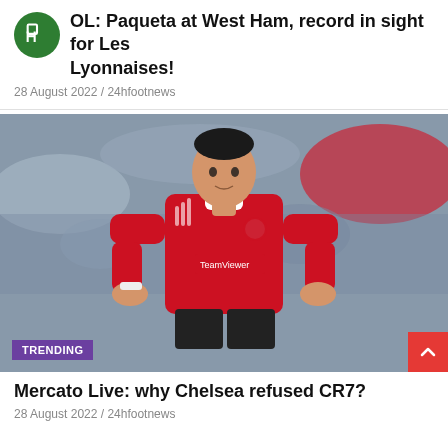OL: Paqueta at West Ham, record in sight for Les Lyonnaises!
28 August 2022 / 24hfootnews
[Figure (photo): Cristiano Ronaldo wearing Manchester United red jersey with TeamViewer sponsor, hands on hips, crowd in background. TRENDING badge overlay bottom left.]
Mercato Live: why Chelsea refused CR7?
28 August 2022 / 24hfootnews